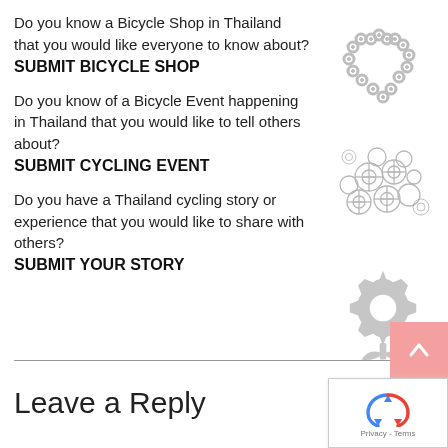Do you know a Bicycle Shop in Thailand that you would like everyone to know about?
SUBMIT BICYCLE SHOP
[Figure (illustration): Bicycle chain shaped into a heart icon, gray color]
Do you know of a Bicycle Event happening in Thailand that you would like to tell others about?
SUBMIT CYCLING EVENT
[Figure (illustration): Multiple bicycles arranged in a circular cluster pattern, gray color]
Do you have a Thailand cycling story or experience that you would like to share with others?
SUBMIT YOUR STORY
[Figure (illustration): Gear/flower plant icon, gray color]
[Figure (illustration): Back to top arrow button, pink/salmon background]
Leave a Reply
[Figure (illustration): Google reCAPTCHA widget with Privacy - Terms text]